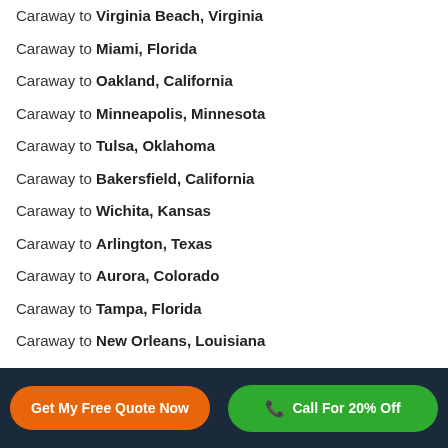Caraway to Virginia Beach, Virginia
Caraway to Miami, Florida
Caraway to Oakland, California
Caraway to Minneapolis, Minnesota
Caraway to Tulsa, Oklahoma
Caraway to Bakersfield, California
Caraway to Wichita, Kansas
Caraway to Arlington, Texas
Caraway to Aurora, Colorado
Caraway to Tampa, Florida
Caraway to New Orleans, Louisiana
Caraway to Cleveland, Ohio
Caraway to Honolulu, Hawaii